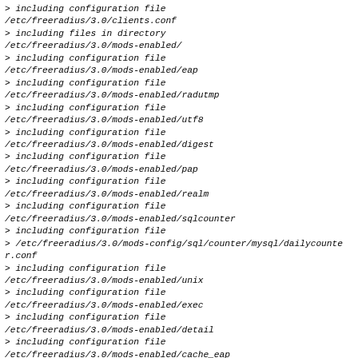> including configuration file
/etc/freeradius/3.0/clients.conf
> including files in directory
/etc/freeradius/3.0/mods-enabled/
> including configuration file
/etc/freeradius/3.0/mods-enabled/eap
> including configuration file
/etc/freeradius/3.0/mods-enabled/radutmp
> including configuration file
/etc/freeradius/3.0/mods-enabled/utf8
> including configuration file
/etc/freeradius/3.0/mods-enabled/digest
> including configuration file
/etc/freeradius/3.0/mods-enabled/pap
> including configuration file
/etc/freeradius/3.0/mods-enabled/realm
> including configuration file
/etc/freeradius/3.0/mods-enabled/sqlcounter
> including configuration file
> /etc/freeradius/3.0/mods-config/sql/counter/mysql/dailycounter.conf
> including configuration file
/etc/freeradius/3.0/mods-enabled/unix
> including configuration file
/etc/freeradius/3.0/mods-enabled/exec
> including configuration file
/etc/freeradius/3.0/mods-enabled/detail
> including configuration file
/etc/freeradius/3.0/mods-enabled/cache_eap
> including configuration file